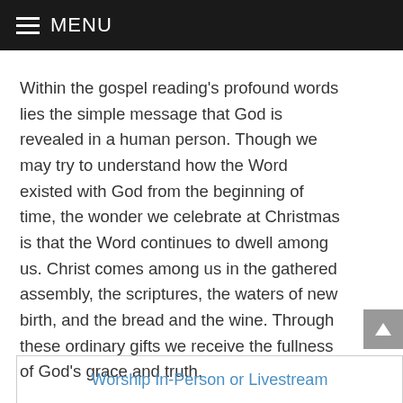≡ MENU
Within the gospel reading's profound words lies the simple message that God is revealed in a human person. Though we may try to understand how the Word existed with God from the beginning of time, the wonder we celebrate at Christmas is that the Word continues to dwell among us. Christ comes among us in the gathered assembly, the scriptures, the waters of new birth, and the bread and the wine. Through these ordinary gifts we receive the fullness of God's grace and truth.
Alleluia!
Worship In-Person or Livestream